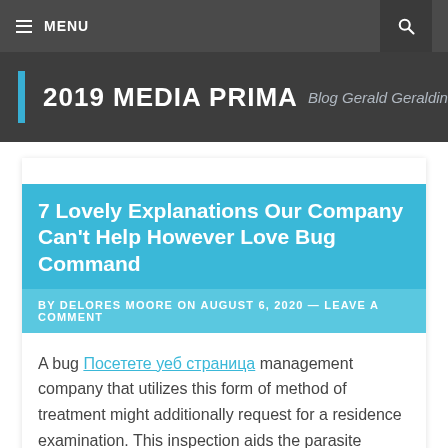MENU
2019 MEDIA PRIMA — Blog Gerald Geraldine
7 Lovely Explanations Our Company Can't Help However Love Bug Command
BY DELORES MOORE ON AUGUST 6, 2020 — LEAVE A COMMENT
A bug Посетете уеб страница management company that utilizes this form of method of treatment might additionally request for a residence examination. This inspection aids the parasite management service to recognize which areas of your residence need to have